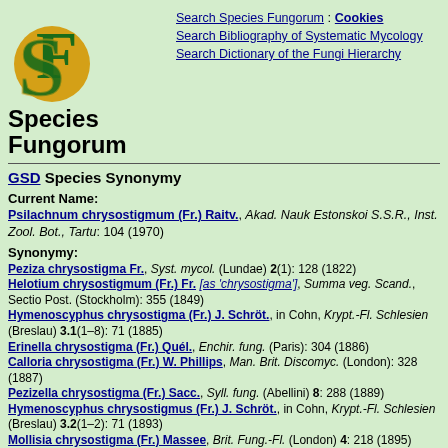[Figure (logo): Species Fungorum logo with intertwined SF letters in green and gold]
Species Fungorum
Search Species Fungorum : Cookies
Search Bibliography of Systematic Mycology
Search Dictionary of the Fungi Hierarchy
GSD Species Synonymy
Current Name:
Psilachnum chrysostigmum (Fr.) Raitv., Akad. Nauk Estonskoi S.S.R., Inst. Zool. Bot., Tartu: 104 (1970)
Synonymy:
Peziza chrysostigma Fr., Syst. mycol. (Lundae) 2(1): 128 (1822)
Helotium chrysostigmum (Fr.) Fr. [as 'chrysostigma'], Summa veg. Scand., Sectio Post. (Stockholm): 355 (1849)
Hymenoscyphus chrysostigma (Fr.) J. Schröt., in Cohn, Krypt.-Fl. Schlesien (Breslau) 3.1(1–8): 71 (1885)
Erinella chrysostigma (Fr.) Quél., Enchir. fung. (Paris): 304 (1886)
Calloria chrysostigma (Fr.) W. Phillips, Man. Brit. Discomyc. (London): 328 (1887)
Pezizella chrysostigma (Fr.) Sacc., Syll. fung. (Abellini) 8: 288 (1889)
Hymenoscyphus chrysostigmus (Fr.) J. Schröt., in Cohn, Krypt.-Fl. Schlesien (Breslau) 3.2(1–2): 71 (1893)
Mollisia chrysostigma (Fr.) Massee, Brit. Fung.-Fl. (London) 4: 218 (1895)
Micropodia chrysostigma (Fr.) Boud., Hist. Class. Discom. Eur. (Paris): 128